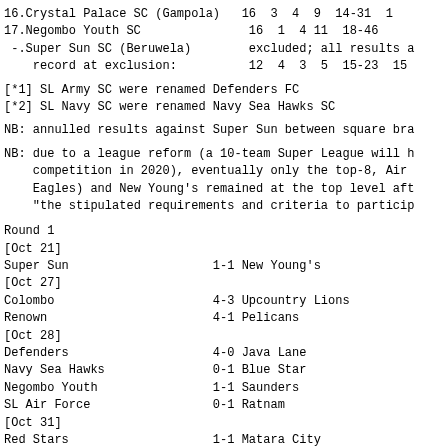16.Crystal Palace SC (Gampola)   16  3  4  9  14-31  1
17.Negombo Youth SC               16  1  4 11  18-46
 -.Super Sun SC (Beruwela)        excluded; all results a
    record at exclusion:          12  4  3  5  15-23  15
[*1] SL Army SC were renamed Defenders FC
[*2] SL Navy SC were renamed Navy Sea Hawks SC
NB: annulled results against Super Sun between square bra
NB: due to a league reform (a 10-team Super League will h
    competition in 2020), eventually only the top-8, Air
    Eagles) and New Young's remained at the top level aft
    "the stipulated requirements and criteria to particip
Round 1
[Oct 21]
Super Sun                    1-1 New Young's
[Oct 27]
Colombo                      4-3 Upcountry Lions
Renown                       4-1 Pelicans
[Oct 28]
Defenders                    4-0 Java Lane
Navy Sea Hawks               0-1 Blue Star
Negombo Youth                1-1 Saunders
SL Air Force                 0-1 Ratnam
[Oct 31]
Red Stars                    1-1 Matara City
Solid                        1-1 Crystal Palace
Round 2